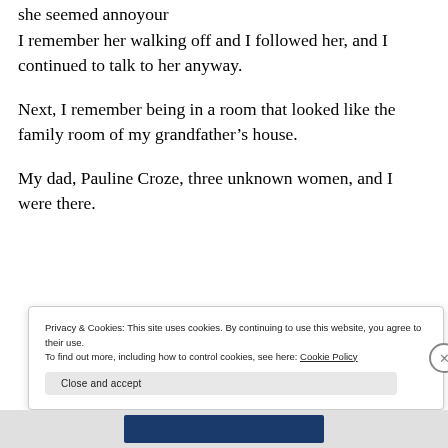she seemed annoyour
I remember her walking off and I followed her, and I continued to talk to her anyway.
Next, I remember being in a room that looked like the family room of my grandfather's house.
My dad, Pauline Croze, three unknown women, and I were there.
Privacy & Cookies: This site uses cookies. By continuing to use this website, you agree to their use.
To find out more, including how to control cookies, see here: Cookie Policy
Close and accept